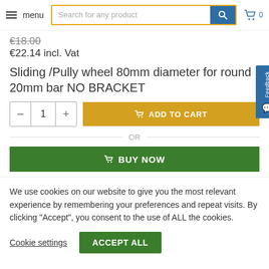menu  Search for any product  [cart] 0
€18.00
€22.14 incl. Vat
Sliding /Pully wheel 80mm diameter for round 20mm bar NO BRACKET
1  ADD TO CART
OR
BUY NOW
We use cookies on our website to give you the most relevant experience by remembering your preferences and repeat visits. By clicking “Accept”, you consent to the use of ALL the cookies.
Cookie settings  ACCEPT ALL